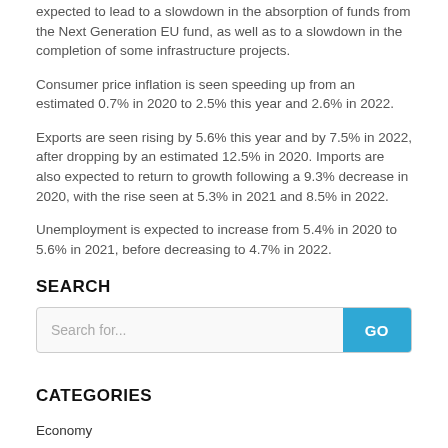expected to lead to a slowdown in the absorption of funds from the Next Generation EU fund, as well as to a slowdown in the completion of some infrastructure projects.
Consumer price inflation is seen speeding up from an estimated 0.7% in 2020 to 2.5% this year and 2.6% in 2022.
Exports are seen rising by 5.6% this year and by 7.5% in 2022, after dropping by an estimated 12.5% in 2020. Imports are also expected to return to growth following a 9.3% decrease in 2020, with the rise seen at 5.3% in 2021 and 8.5% in 2022.
Unemployment is expected to increase from 5.4% in 2020 to 5.6% in 2021, before decreasing to 4.7% in 2022.
SEARCH
[Figure (other): Search box with placeholder text 'Search for...' and a blue GO button]
CATEGORIES
Economy